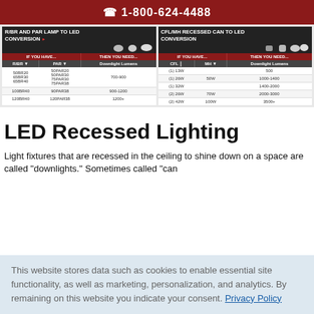1-800-624-4488
[Figure (table-as-image): R/BR AND PAR LAMP TO LED CONVERSION table showing lamp equivalents and downlight lumens. Left table: R/BR and PAR columns with Downlight Lumens. Rows: 50BR20/65BR30/65BR40 - 50PAR20/50PAR30/75PAR30/75PAR38 - 700-900; 100BR40 - 90PAR38 - 900-1200; 120BR40 - 120PAR38 - 1200+]
[Figure (table-as-image): CFL/MH RECESSED CAN TO LED CONVERSION table. CFL and MH columns with Downlight Lumens. Rows: (1) 13W - 500; (1) 26W - 50W - 1000-1400; (1) 32W - 1400-2000; (2) 26W - 70W - 2000-3000; (2) 42W - 100W - 3500+]
LED Recessed Lighting
Light fixtures that are recessed in the ceiling to shine down on a space are called "downlights." Sometimes called "can
This website stores data such as cookies to enable essential site functionality, as well as marketing, personalization, and analytics. By remaining on this website you indicate your consent. Privacy Policy